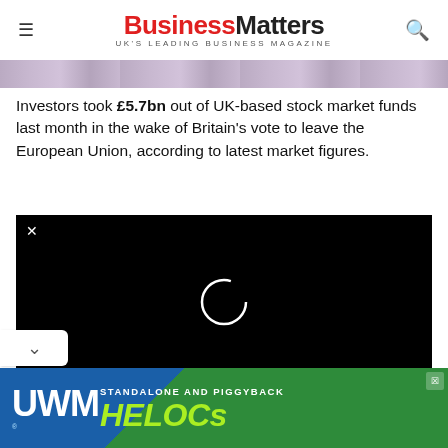Business Matters — UK'S LEADING BUSINESS MAGAZINE
[Figure (photo): Decorative banner strip showing UK currency / banknotes imagery]
Investors took £5.7bn out of UK-based stock market funds last month in the wake of Britain's vote to leave the European Union, according to latest market figures.
[Figure (screenshot): Black video player placeholder with a white circular loading/spinner ring and a close (×) button in the top-left corner]
[Figure (photo): UWM advertisement banner: 'STANDALONE AND PIGGYBACK HELOCs' with UWM logo on blue and green background]